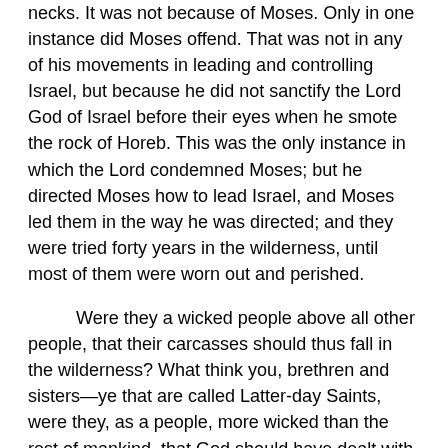necks. It was not because of Moses. Only in one instance did Moses offend. That was not in any of his movements in leading and controlling Israel, but because he did not sanctify the Lord God of Israel before their eyes when he smote the rock of Horeb. This was the only instance in which the Lord condemned Moses; but he directed Moses how to lead Israel, and Moses led them in the way he was directed; and they were tried forty years in the wilderness, until most of them were worn out and perished.
Were they a wicked people above all other people, that their carcasses should thus fall in the wilderness? What think you, brethren and sisters—ye that are called Latter-day Saints, were they, as a people, more wicked than the rest of mankind, that God should have dealt with them thus? I answer, No. But of a truth they were the best people upon the face of the earth, and the only people that had the Priesthood of God among them.
They were the people whom God had delivered from Egyptian bondage with an outstretched arm; and by his power, they were the only people God could make use of. They had faith sufficient that he could govern and control them; and so far from being the worst, they were the best people upon the earth; but upon them rested the responsibility, and they did not improve upon their privileges and appreciate their blessings as they ought to have